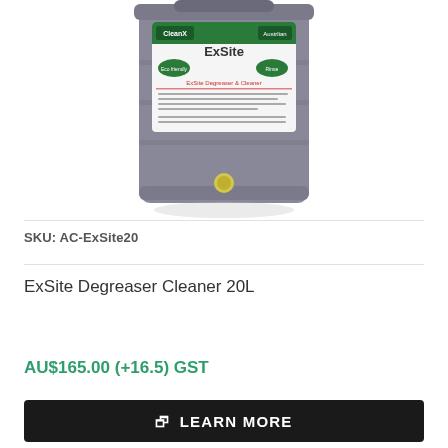[Figure (photo): A large grey plastic 20-litre container/drum with a green and white product label reading 'ExSite' (CleanX brand). The container has a yellow tap/spigot at the bottom front. The label shows green ovals and 'ExSite Degreaser & Cleaner' text.]
SKU: AC-ExSite20
ExSite Degreaser Cleaner 20L
AU$165.00 (+16.5) GST
LEARN MORE